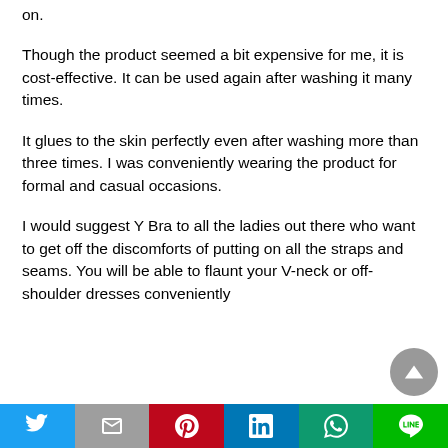on.
Though the product seemed a bit expensive for me, it is cost-effective. It can be used again after washing it many times.
It glues to the skin perfectly even after washing more than three times. I was conveniently wearing the product for formal and casual occasions.
I would suggest Y Bra to all the ladies out there who want to get off the discomforts of putting on all the straps and seams. You will be able to flaunt your V-neck or off-shoulder dresses conveniently
Social share bar: Twitter, Email, Pinterest, LinkedIn, WhatsApp, LINE